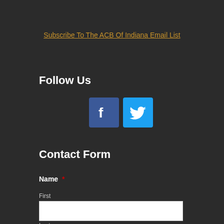Subscribe To The ACB Of Indiana Email List
Follow Us
[Figure (illustration): Facebook and Twitter social media icons side by side]
Contact Form
Name *
First
Last